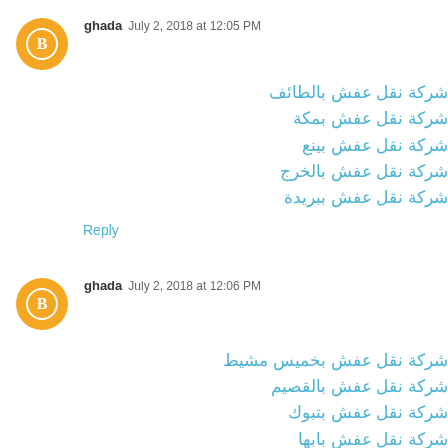ghada July 2, 2018 at 12:05 PM
شركة نقل عفش بالطائف
شركة نقل عفش بمكة
شركة نقل عفش بينع
شركة نقل عفش بالخرج
شركة نقل عفش ببريدة
Reply
ghada July 2, 2018 at 12:06 PM
شركة نقل عفش بخميس مشيط
شركة نقل عفش بالقصيم
شركة نقل عفش بتبوك
شركة نقل عفش بابها